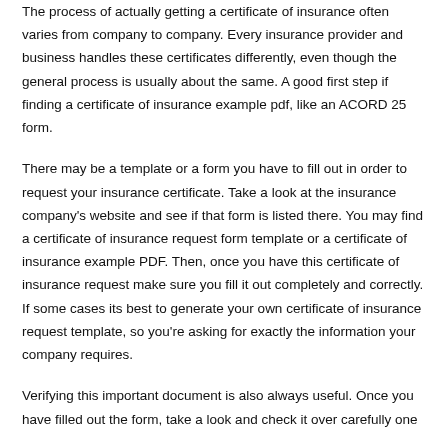The process of actually getting a certificate of insurance often varies from company to company. Every insurance provider and business handles these certificates differently, even though the general process is usually about the same. A good first step if finding a certificate of insurance example pdf, like an ACORD 25 form.
There may be a template or a form you have to fill out in order to request your insurance certificate. Take a look at the insurance company's website and see if that form is listed there. You may find a certificate of insurance request form template or a certificate of insurance example PDF. Then, once you have this certificate of insurance request make sure you fill it out completely and correctly. If some cases its best to generate your own certificate of insurance request template, so you're asking for exactly the information your company requires.
Verifying this important document is also always useful. Once you have filled out the form, take a look and check it over carefully one last time if possible, before you put your name and sign it for the...